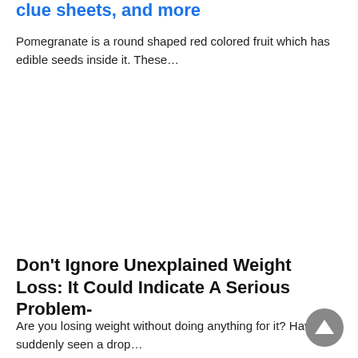clue sheets, and more
Pomegranate is a round shaped red colored fruit which has edible seeds inside it. These…
Don't Ignore Unexplained Weight Loss: It Could Indicate A Serious Problem-
Are you losing weight without doing anything for it? Have you suddenly seen a drop…